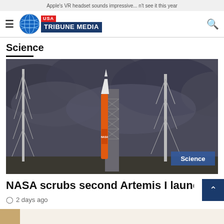Apple's VR headset sounds impressive... n't see it this year
USA TRIBUNE MEDIA
Science
[Figure (photo): NASA Artemis I SLS rocket on launch pad at Kennedy Space Center, surrounded by lightning towers, under stormy dark cloudy sky. A 'Science' badge overlay appears in the bottom-right corner.]
NASA scrubs second Artemis I launch attem
2 days ago